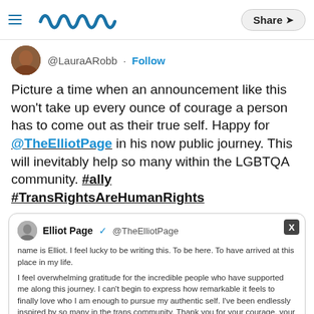Meaww | Share
@LauraARobb · Follow
Picture a time when an announcement like this won't take up every ounce of courage a person has to come out as their true self. Happy for @TheElliotPage in his now public journey. This will inevitably help so many within the LGBTQA community. #ally #TransRightsAreHumanRights
[Figure (screenshot): Embedded quoted tweet from Elliot Page @TheElliotPage containing text about his name and gratitude for supporters, partially obscured by an ad overlay for BitLife - Life Simulator by Candywriter, LLC]